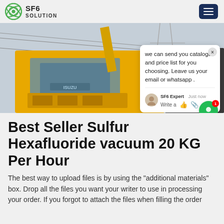SF6 SOLUTION
[Figure (photo): Yellow Isuzu truck/crane vehicle near electrical power transmission towers, viewed from a low angle. A chat popup overlay appears on the right side of the image.]
Best Seller Sulfur Hexafluoride vacuum 20 KG Per Hour
The best way to upload files is by using the "additional materials" box. Drop all the files you want your writer to use in processing your order. If you forgot to attach the files when filling the order